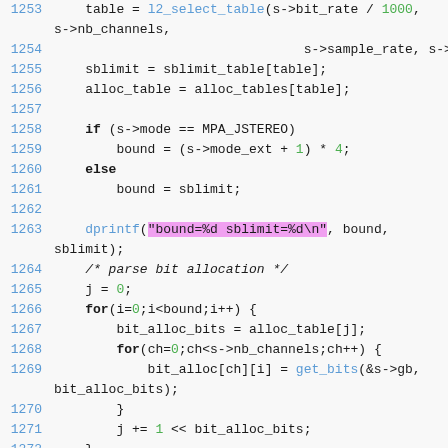[Figure (screenshot): Source code listing in a monospaced code editor/viewer showing C code lines 1253-1273, with syntax highlighting: line numbers in blue, keywords in bold, function names in blue, string literals highlighted in pink/magenta background, numeric literals in green, comments in italic.]